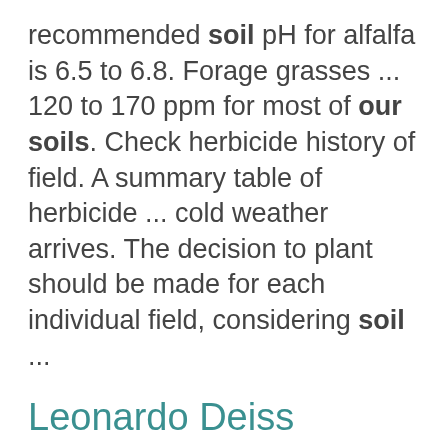recommended soil pH for alfalfa is 6.5 to 6.8. Forage grasses ... 120 to 170 ppm for most of our soils. Check herbicide history of field. A summary table of herbicide ... cold weather arrives. The decision to plant should be made for each individual field, considering soil ...
Leonardo Deiss
https://senr.osu.edu/our-people/leonardo-deiss Leonardo Deiss Visiting Assistant Professor in Soil Fertility and Soil Health deiss.8@osu.edu 414 ... understanding how soils function in a variety of ecological conditions...